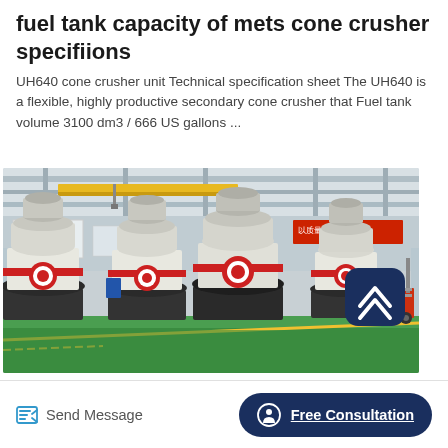fuel tank capacity of mets cone crusher specifiions
UH640 cone crusher unit Technical specification sheet The UH640 is a flexible, highly productive secondary cone crusher that Fuel tank volume 3100 dm3 / 666 US gallons ...
[Figure (photo): Industrial factory floor showing multiple cone crusher machines wrapped in plastic, lined up in a row. Yellow crane beam overhead, green epoxy floor with yellow line, red Chinese signage on back wall, forklift visible on the right. A dark navy rounded-square scroll-to-top button with a white chevron is overlaid in the bottom-right corner of the image.]
Send Message
Free Consultation